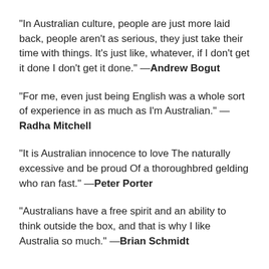“In Australian culture, people are just more laid back, people aren’t as serious, they just take their time with things. It’s just like, whatever, if I don’t get it done I don’t get it done.” —Andrew Bogut
“For me, even just being English was a whole sort of experience in as much as I’m Australian.” —Radha Mitchell
“It is Australian innocence to love The naturally excessive and be proud Of a thoroughbred gelding who ran fast.” —Peter Porter
“Australians have a free spirit and an ability to think outside the box, and that is why I like Australia so much.” —Brian Schmidt